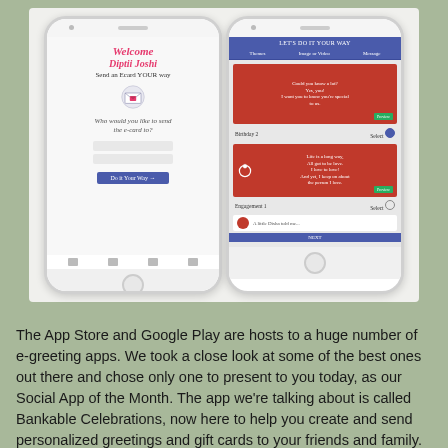[Figure (screenshot): Two smartphone screenshots of the Bankable Celebrations app. Left phone shows a welcome screen with 'Welcome Diptii Joshi, Send an Ecard YOUR way' and an envelope icon, with a prompt 'Who would you like to send the e-card to?' and input fields. Right phone shows a 'Let's Do It Your Way' screen with themes, image/video, and message tabs, displaying greeting card options including Birthday and Engagement cards with Preview buttons.]
The App Store and Google Play are hosts to a huge number of e-greeting apps. We took a close look at some of the best ones out there and chose only one to present to you today, as our Social App of the Month. The app we're talking about is called Bankable Celebrations, now here to help you create and send personalized greetings and gift cards to your friends and family. Read on and find out why we love it so much!
Choose from variety of greeting cards